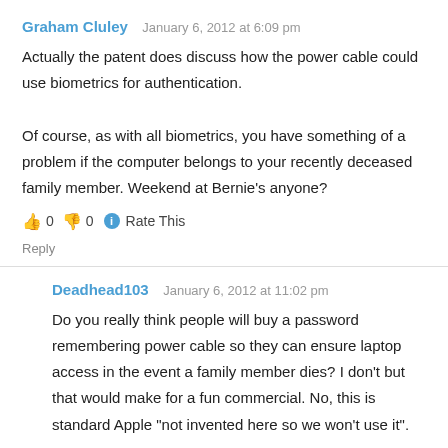Graham Cluley   January 6, 2012 at 6:09 pm
Actually the patent does discuss how the power cable could use biometrics for authentication.

Of course, as with all biometrics, you have something of a problem if the computer belongs to your recently deceased family member. Weekend at Bernie's anyone?
👍 0 👎 0 ℹ Rate This
Reply
Deadhead103   January 6, 2012 at 11:02 pm
Do you really think people will buy a password remembering power cable so they can ensure laptop access in the event a family member dies? I don't but that would make for a fun commercial. No, this is standard Apple "not invented here so we won't use it".